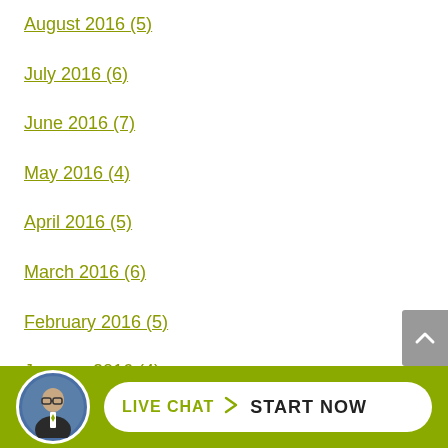August 2016 (5)
July 2016 (6)
June 2016 (7)
May 2016 (4)
April 2016 (5)
March 2016 (6)
February 2016 (5)
January 2016 (4)
December 2015 (6)
November 2015 (partially visible)
[Figure (screenshot): Live chat bar at bottom with agent avatar photo and 'LIVE CHAT > START NOW' button on olive green background]